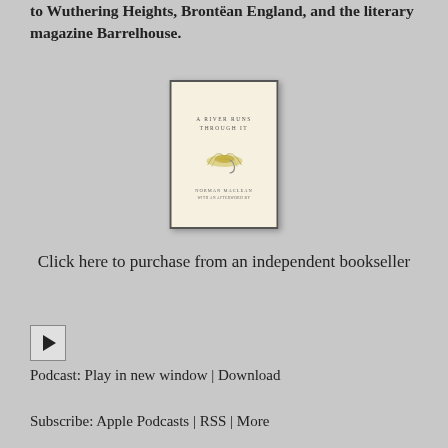to Wuthering Heights, Brontëan England, and the literary magazine Barrelhouse.
[Figure (illustration): Book cover of 'A River Runs Through It' by Norman Maclean, cream/off-white background with a fly-fishing lure illustration in the center.]
Click here to purchase from an independent bookseller
[Figure (other): Audio play button icon — a square button with a right-pointing triangle (play symbol).]
Podcast: Play in new window | Download
Subscribe: Apple Podcasts | RSS | More